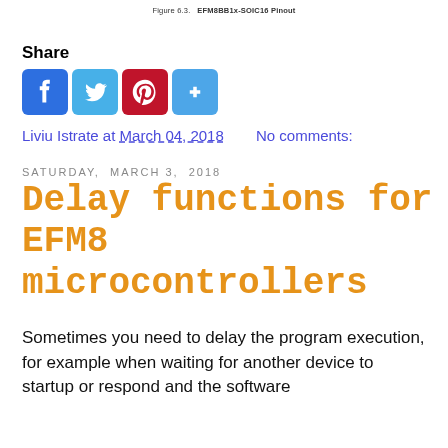Figure 6.3. EFM8BB1x-SOIC16 Pinout
Share
[Figure (infographic): Social share buttons: Facebook (blue), Twitter (blue), Pinterest (red), Google+ (blue)]
Liviu Istrate at March 04, 2018    No comments:
SATURDAY, MARCH 3, 2018
Delay functions for EFM8 microcontrollers
Sometimes you need to delay the program execution, for example when waiting for another device to startup or respond and the software